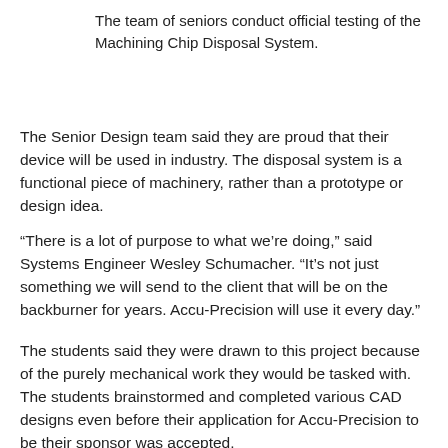The team of seniors conduct official testing of the Machining Chip Disposal System.
The Senior Design team said they are proud that their device will be used in industry. The disposal system is a functional piece of machinery, rather than a prototype or design idea.
“There is a lot of purpose to what we’re doing,” said Systems Engineer Wesley Schumacher. “It’s not just something we will send to the client that will be on the backburner for years. Accu-Precision will use it every day.”
The students said they were drawn to this project because of the purely mechanical work they would be tasked with. The students brainstormed and completed various CAD designs even before their application for Accu-Precision to be their sponsor was accepted.